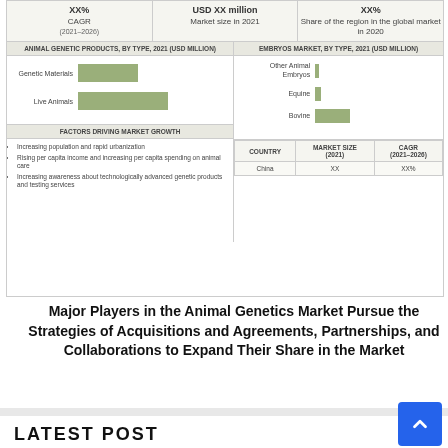[Figure (infographic): Animal genetics market overview infographic showing CAGR, market size, regional share, bar charts for animal genetic products and embryos market by type 2021, factors driving market growth, and a country table with China data.]
Major Players in the Animal Genetics Market Pursue the Strategies of Acquisitions and Agreements, Partnerships, and Collaborations to Expand Their Share in the Market
LATEST POST
What are the Notable Developments in Recycled Plastics Market?